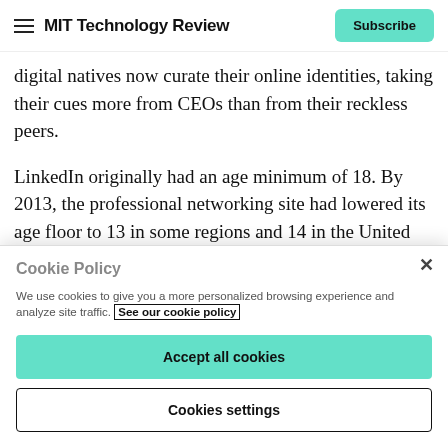MIT Technology Review | Subscribe
digital natives now curate their online identities, taking their cues more from CEOs than from their reckless peers.
LinkedIn originally had an age minimum of 18. By 2013, the professional networking site had lowered its age floor to 13 in some regions and 14 in the United States, before standardizing it at 16 in 2018. The company wouldn't say
Cookie Policy
We use cookies to give you a more personalized browsing experience and analyze site traffic. See our cookie policy
Accept all cookies
Cookies settings